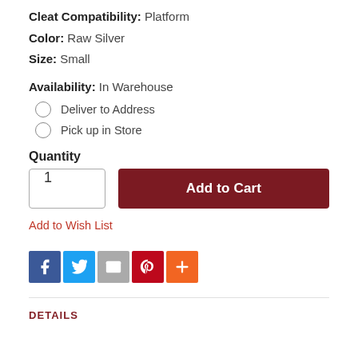Cleat Compatibility: Platform
Color: Raw Silver
Size: Small
Availability: In Warehouse
Deliver to Address
Pick up in Store
Quantity
1
Add to Cart
Add to Wish List
DETAILS